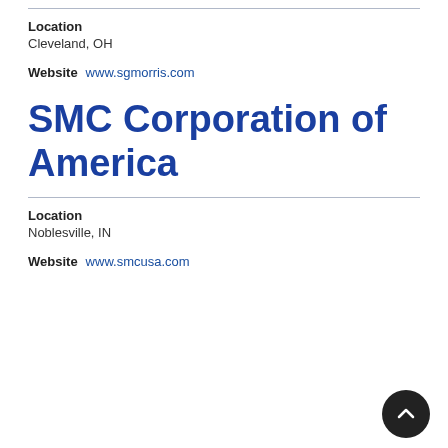Location
Cleveland, OH
Website  www.sgmorris.com
SMC Corporation of America
Location
Noblesville, IN
Website  www.smcusa.com